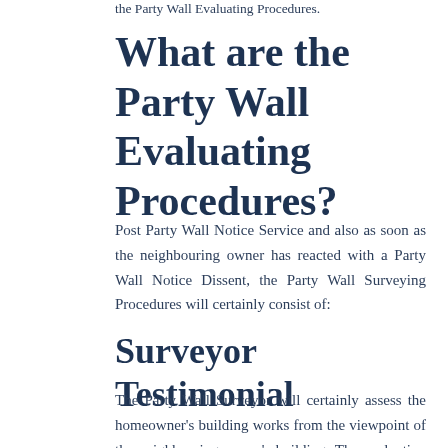the Party Wall Evaluating Procedures.
What are the Party Wall Evaluating Procedures?
Post Party Wall Notice Service and also as soon as the neighbouring owner has reacted with a Party Wall Notice Dissent, the Party Wall Surveying Procedures will certainly consist of:
Surveyor Testimonial
The Party Wall Surveyor will certainly assess the homeowner's building works from the viewpoint of the neighbouring owner's building. The evaluation will consist of, however is not limited to: